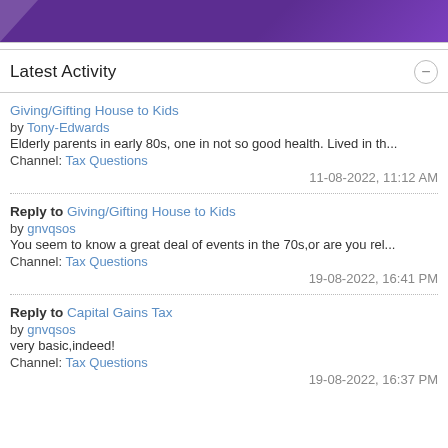[Figure (illustration): Purple banner with diagonal white stripe at top left corner]
Latest Activity
Giving/Gifting House to Kids by Tony-Edwards. Elderly parents in early 80s, one in not so good health. Lived in th... Channel: Tax Questions. 11-08-2022, 11:12 AM
Reply to Giving/Gifting House to Kids by gnvqsos. You seem to know a great deal of events in the 70s,or are you rel... Channel: Tax Questions. 19-08-2022, 16:41 PM
Reply to Capital Gains Tax by gnvqsos. very basic,indeed! Channel: Tax Questions. 19-08-2022, 16:37 PM